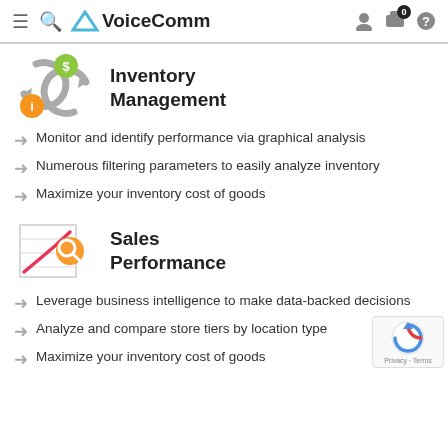VoiceComm
Inventory Management
Monitor and identify performance via graphical analysis
Numerous filtering parameters to easily analyze inventory
Maximize your inventory cost of goods
Sales Performance
Leverage business intelligence to make data-backed decisions
Analyze and compare store tiers by location type
Maximize your inventory cost of goods